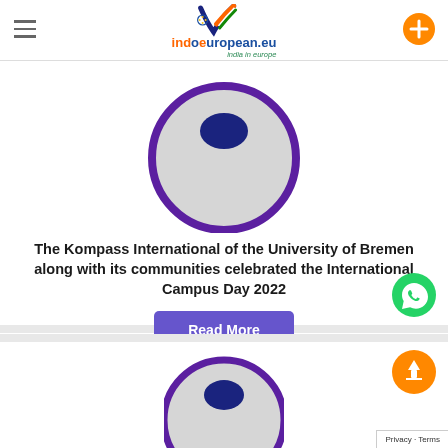indoeuropean.eu — india in europe
[Figure (logo): Indoeuropean.eu logo with stylized V checkmark and Indian/EU flag colors, with tagline 'india in europe']
[Figure (illustration): Circular icon with purple border, grey fill, and dark blue ellipse at top — generic profile/article image]
The Kompass International of the University of Bremen along with its communities celebrated the International Campus Day 2022
[Figure (other): Read More button — purple/indigo rectangle with white bold text]
[Figure (other): WhatsApp floating button — green circle with phone icon]
[Figure (illustration): Second article card image — same circular icon with purple border, grey fill, dark blue ellipse, partially visible at bottom]
[Figure (other): Orange scroll-to-top floating button with rocket icon]
Privacy · Terms